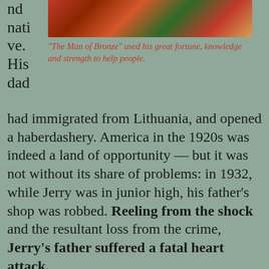nd native. His dad
[Figure (illustration): Colorful painted illustration showing a figure with red and green tones, partially cropped at top of page]
"The Man of Bronze" used his great fortune, knowledge and strength to help people.
had immigrated from Lithuania, and opened a haberdashery. America in the 1920s was indeed a land of opportunity — but it was not without its share of problems: in 1932, while Jerry was in junior high, his father's shop was robbed. Reeling from the shock and the resultant loss from the crime, Jerry's father suffered a fatal heart attack.
A year later, Jerry met Joe. Two shy dreamers, both sons of immigrants, both struggling with